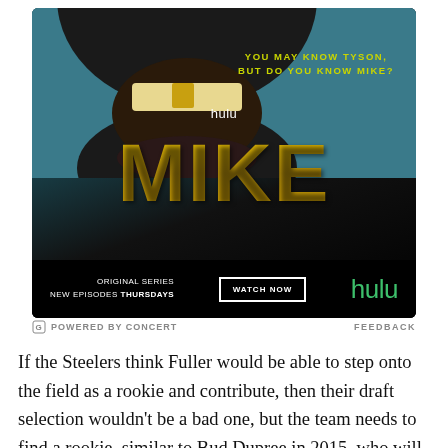[Figure (photo): Hulu advertisement for the original series 'MIKE' — a close-up of a man's open mouth showing gold teeth against a dark and teal background, with tagline 'YOU MAY KNOW TYSON, BUT DO YOU KNOW MIKE?', the show title MIKE in large yellow distressed letters, and a bottom bar with 'ORIGINAL SERIES NEW EPISODES THURSDAYS', a WATCH NOW button, and the Hulu logo in green.]
POWERED BY CONCERT    FEEDBACK
If the Steelers think Fuller would be able to step onto the field as a rookie and contribute, then their draft selection wouldn't be a bad one, but the team needs to find a rookie, similar to Bud Dupree in 2015, who will